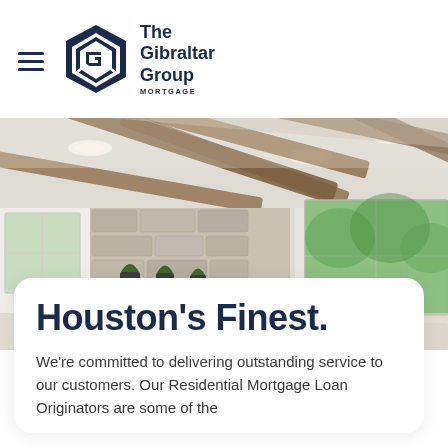[Figure (logo): The Gibraltar Group Mortgage logo with hexagonal G icon in navy blue]
[Figure (photo): Interior photo of a luxury home living room with exposed wood ceiling beams, stone fireplace, potted plants on a shelf, and large windows with green foliage outside]
Houston's Finest.
We're committed to delivering outstanding service to our customers. Our Residential Mortgage Loan Originators are some of the